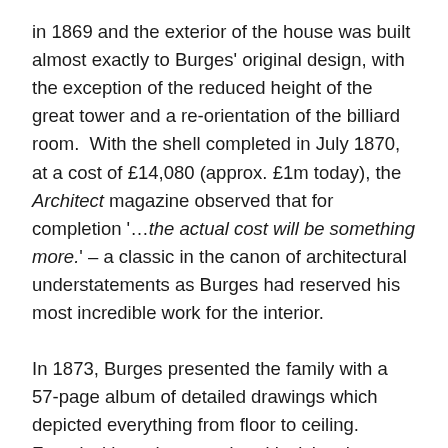in 1869 and the exterior of the house was built almost exactly to Burges' original design, with the exception of the reduced height of the great tower and a re-orientation of the billiard room.  With the shell completed in July 1870, at a cost of £14,080 (approx. £1m today), the Architect magazine observed that for completion '…the actual cost will be something more.' – a classic in the canon of architectural understatements as Burges had reserved his most incredible work for the interior.
In 1873, Burges presented the family with a 57-page album of detailed drawings which depicted everything from floor to ceiling.  Faced with such a grand and lavish scheme the Heathcoat Amorys abandoned Burges' scheme, apart from the stone and wood carving, and, in 1874, brought in the cheaper but very talented John Diblee Crace.  Crace was the fifth generation of architectural decorators and between